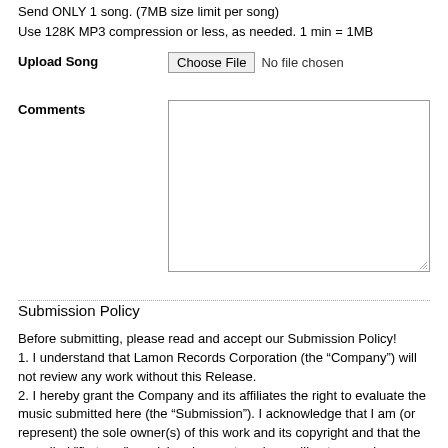Send ONLY 1 song. (7MB size limit per song)
Use 128K MP3 compression or less, as needed. 1 min = 1MB
Upload Song   [Choose File] No file chosen
Comments   [textarea]
Submission Policy
Before submitting, please read and accept our Submission Policy!
1. I understand that Lamon Records Corporation (the “Company”) will not review any work without this Release.
2. I hereby grant the Company and its affiliates the right to evaluate the music submitted here (the “Submission”). I acknowledge that I am (or represent) the sole owner(s) of this work and its copyright and that the so-called "first use" provision does not apply or will not encumber or prohibit the proper licensing of the Submission.